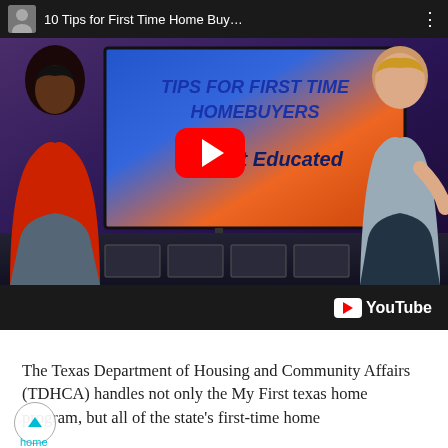[Figure (screenshot): YouTube video thumbnail showing two people on a TV studio set with a screen displaying 'TIPS FOR FIRST TIME HOMEBUYERS' and '#10 Get Educated', with a YouTube play button overlay and YouTube logo at the bottom. Video title reads '10 Tips for First Time Home Buy...']
The Texas Department of Housing and Community Affairs (TDHCA) handles not only the My First texas home program, but all of the state's first-time home